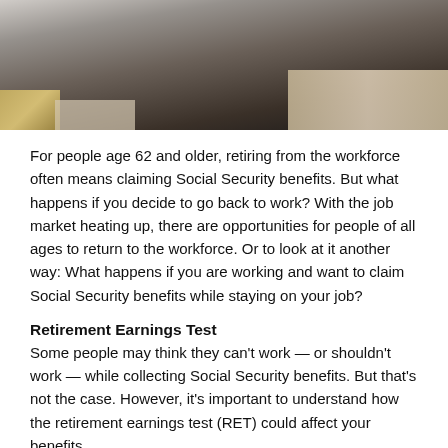[Figure (photo): Person in dark clothing holding a laptop, partial view from mid-torso up, office background]
For people age 62 and older, retiring from the workforce often means claiming Social Security benefits. But what happens if you decide to go back to work? With the job market heating up, there are opportunities for people of all ages to return to the workforce. Or to look at it another way: What happens if you are working and want to claim Social Security benefits while staying on your job?
Retirement Earnings Test
Some people may think they can't work — or shouldn't work — while collecting Social Security benefits. But that's not the case. However, it's important to understand how the retirement earnings test (RET) could affect your benefits.
The RET applies only if you are working and receiving Social Security benefits before reaching full